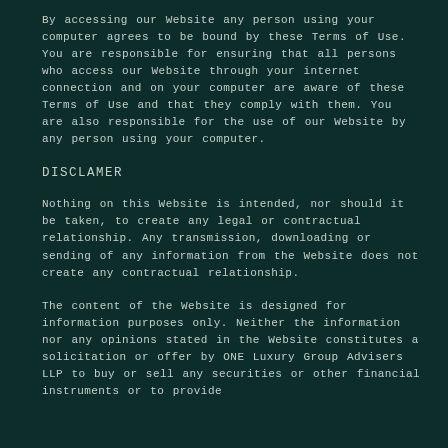By accessing our Website any person using your computer agrees to be bound by these Terms of Use. You are responsible for ensuring that all persons who access our Website through your internet connection and on your computer are aware of these Terms of Use and that they comply with them. You are also responsible for the use of our Website by any person using your computer.
DISCLAMER
Nothing on this Website is intended, nor should it be taken, to create any legal or contractual relationship. Any transmission, downloading or sending of any information from the Website does not create any contractual relationship.
The content of the Website is designed for information purposes only. Neither the information nor any opinions stated in the Website constitutes a solicitation or offer by ONE Luxury Group Advisers LLP to buy or sell any securities or other financial instruments or to provide